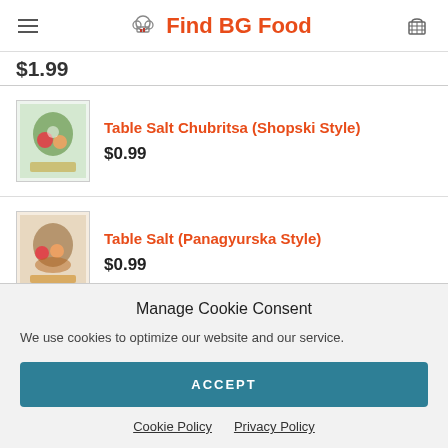Find BG Food
$1.99
Table Salt Chubritsa (Shopski Style)
$0.99
Table Salt (Panagyurska Style)
$0.99
Manage Cookie Consent
We use cookies to optimize our website and our service.
ACCEPT
Cookie Policy   Privacy Policy